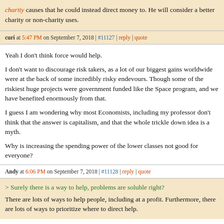charity causes that he could instead direct money to. He will consider a better charity or non-charity uses.
curi at 5:47 PM on September 7, 2018 | #11127 | reply | quote
Yeah I don't think force would help.

I don't want to discourage risk takers, as a lot of our biggest gains worldwide were at the back of some incredibly risky endevours. Though some of the riskiest huge projects were government funded like the Space program, and we have benefited enormously from that.

I guess I am wondering why most Economists, including my professor don't think that the answer is capitalism, and that the whole trickle down idea is a myth.

Why is increasing the spending power of the lower classes not good for everyone?
Andy at 6:06 PM on September 7, 2018 | #11128 | reply | quote
> Surely there is a way to help, problems are soluble right?
There are lots of ways to help people, including at a profit. Furthermore, there are lots of ways to prioritize where to direct help.